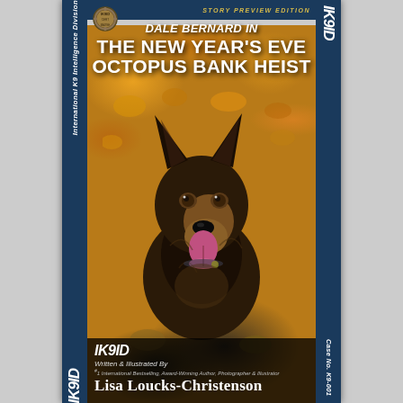[Figure (illustration): Book cover for 'IK9ID: Dale Bernard in The New Year's Eve Octopus Bank Heist' featuring a German Shepherd dog with mouth open against autumn leaves background. Left and right dark blue spines with 'IK9ID' branding. Top blue strip with 'Story Preview Edition' text and a logo badge top left. Bottom dark strip with author credit.]
DALE BERNARD IN
THE NEW YEAR'S EVE OCTOPUS BANK HEIST
Written & Illustrated By
#1 International Bestselling, Award-Winning Author, Photographer & Illustrator
Lisa Loucks-Christenson
International K9 Intelligence Division
IK9ID Case No. K9-001